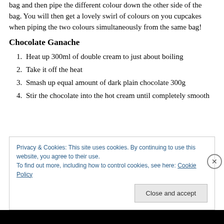bag and then pipe the different colour down the other side of the bag. You will then get a lovely swirl of colours on you cupcakes when piping the two colours simultaneously from the same bag!
Chocolate Ganache
Heat up 300ml of double cream to just about boiling
Take it off the heat
Smash up equal amount of dark plain chocolate 300g
Stir the chocolate into the hot cream until completely smooth
Privacy & Cookies: This site uses cookies. By continuing to use this website, you agree to their use.
To find out more, including how to control cookies, see here: Cookie Policy